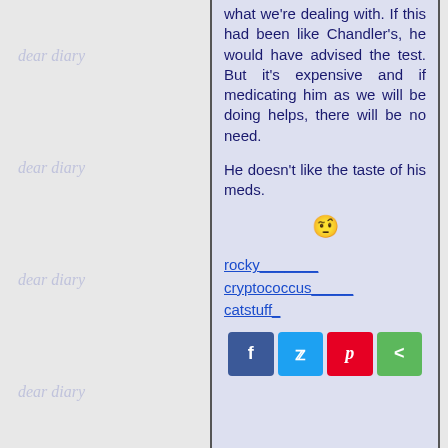what we're dealing with. If this had been like Chandler's, he would have advised the test. But it's expensive and if medicating him as we will be doing helps, there will be no need.
He doesn't like the taste of his meds.
[Figure (illustration): A yellow emoji face with a raised eyebrow, skeptical expression]
rocky_______
cryptococcus_____
catstuff_
[Figure (infographic): Row of social share buttons: Facebook (blue, f), Twitter (light blue, bird), Pinterest (red, P), Share (green, arrow)]